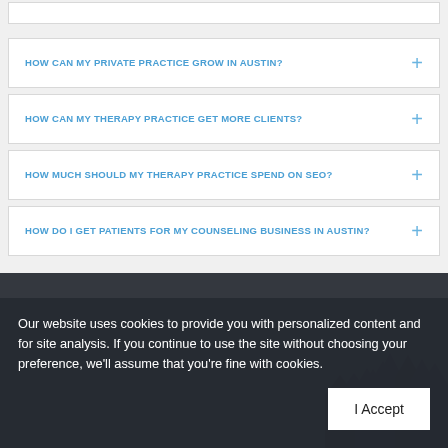HOW CAN MY PRIVATE PRACTICE GROW IN AUSTIN?
HOW CAN MY THERAPY PRACTICE GET MORE CLIENTS?
HOW MUCH SHOULD MY THERAPY PRACTICE SPEND ON SEO?
HOW DO I GET PATIENTS FOR MY COUNSELING BUSINESS IN AUSTIN?
Our website uses cookies to provide you with personalized content and for site analysis. If you continue to use the site without choosing your preference, we'll assume that you're fine with cookies.